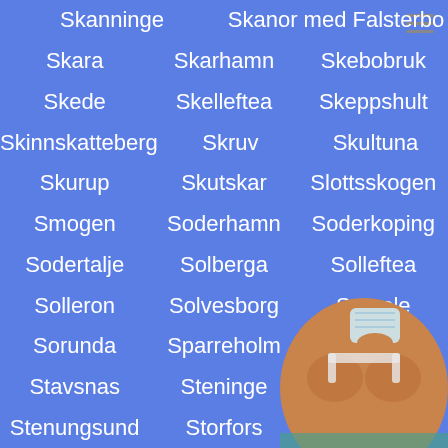Skanninge   Skanor med Falsterbo
Skara   Skarhamn   Skebobruk
Skede   Skelleftea   Skeppshult
Skinnskatteberg   Skruv   Skultuna
Skurup   Skutskar   Slottsskogen
Smogen   Soderhamn   Soderkoping
Sodertalje   Solberga   Solleftea
Solleron   Solvesborg   Sorsele
Sorunda   Sparreholm   Sta[obscured]
Stavsnas   Steninge   St[obscured]
Stenungsund   Storfors   Storholmen